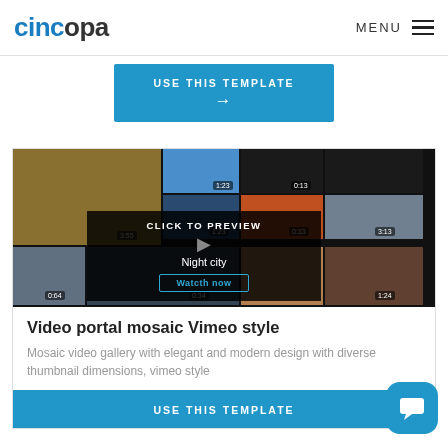cincopa  MENU
USE THIS TEMPLATE →
[Figure (screenshot): Video portal mosaic thumbnail grid with multiple video thumbnails of varying sizes. Overlaid with a CLICK TO PREVIEW panel showing 'Night city' and a 'Watcth now' button. Time labels visible: 3:55, 1:23, 0:13, 3:55, 1:23, 0:33, 3:55, 0:34, 3:13, 0:64, 1:24]
Video portal mosaic Vimeo style
Mosaic video gallery with elegant and modern design with diverse thumbnail dimensions, vimeo style
USE THIS TEMPLATE